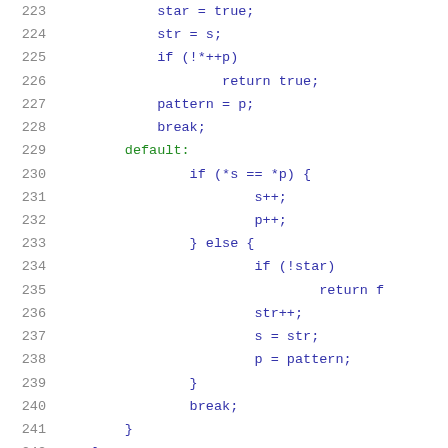[Figure (screenshot): Source code listing lines 223-244 showing C code with line numbers. Code includes star=true, str=s, if(!*++p), return true, pattern=p, break, default case with comparisons, s++, p++, else block with !star check, return, str++, s=str, p=pattern, closing braces, break, and if(*p=='*') at line 244.]